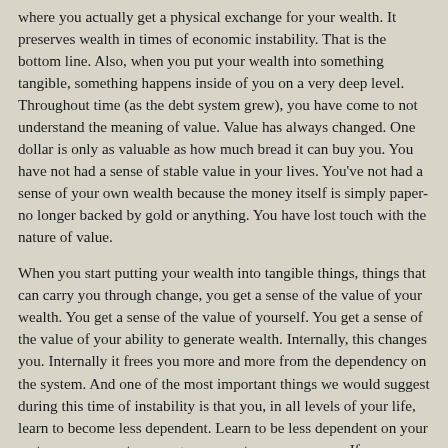where you actually get a physical exchange for your wealth. It preserves wealth in times of economic instability. That is the bottom line. Also, when you put your wealth into something tangible, something happens inside of you on a very deep level. Throughout time (as the debt system grew), you have come to not understand the meaning of value. Value has always changed. One dollar is only as valuable as how much bread it can buy you. You have not had a sense of stable value in your lives. You've not had a sense of your own wealth because the money itself is simply paper--no longer backed by gold or anything. You have lost touch with the nature of value.
When you start putting your wealth into tangible things, things that can carry you through change, you get a sense of the value of your wealth. You get a sense of the value of yourself. You get a sense of the value of your ability to generate wealth. Internally, this changes you. Internally it frees you more and more from the dependency on the system. And one of the most important things we would suggest during this time of instability is that you, in all levels of your life, learn to become less dependent. Learn to be less dependent on your mates, your parents, your government, your economy. If you are less dependent, you take the strain off. If you take the strain off, then the system itself can transform with the least amount of birth pangs. This will benefit you. It will benefit the system, and it will help you gain a sense of yourself and your